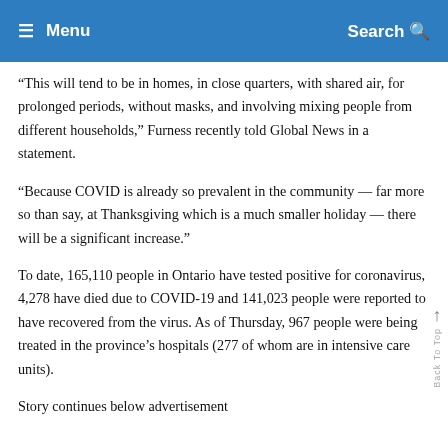☰ Menu   Search 🔍
“This will tend to be in homes, in close quarters, with shared air, for prolonged periods, without masks, and involving mixing people from different households,” Furness recently told Global News in a statement.
“Because COVID is already so prevalent in the community — far more so than say, at Thanksgiving which is a much smaller holiday — there will be a significant increase.”
To date, 165,110 people in Ontario have tested positive for coronavirus, 4,278 have died due to COVID-19 and 141,023 people were reported to have recovered from the virus. As of Thursday, 967 people were being treated in the province’s hospitals (277 of whom are in intensive care units).
Story continues below advertisement